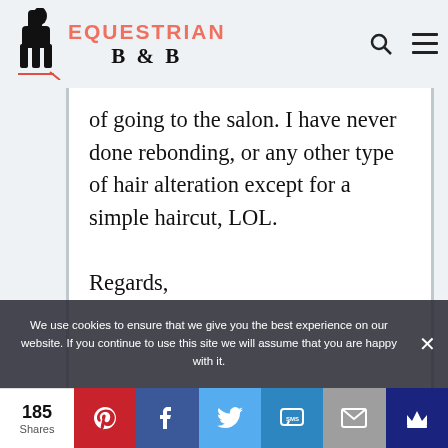EQUESTRIAN B & B
of going to the salon. I have never done rebonding, or any other type of hair alteration except for a simple haircut, LOL.

Regards,
We use cookies to ensure that we give you the best experience on our website. If you continue to use this site we will assume that you are happy with it.
185 Shares